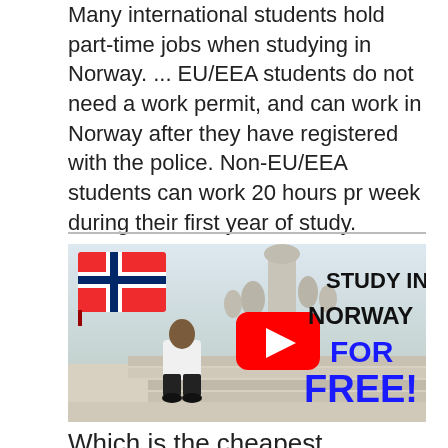Many international students hold part-time jobs when studying in Norway. ... EU/EEA students do not need a work permit, and can work in Norway after they have registered with the police. Non-EU/EEA students can work 20 hours pr week during their first year of study.
[Figure (screenshot): YouTube video thumbnail showing 'Study in Norway for Free!' with a Norwegian flag, YouTube play button, and a person sitting on steps with stone sculptures in the background.]
Which is the cheapest